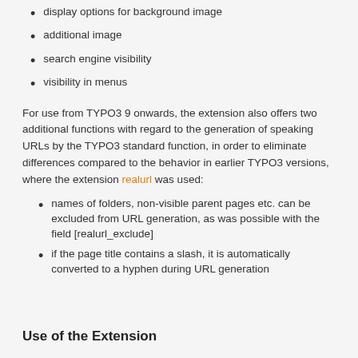display options for background image
additional image
search engine visibility
visibility in menus
For use from TYPO3 9 onwards, the extension also offers two additional functions with regard to the generation of speaking URLs by the TYPO3 standard function, in order to eliminate differences compared to the behavior in earlier TYPO3 versions, where the extension realurl was used:
names of folders, non-visible parent pages etc. can be excluded from URL generation, as was possible with the field [realurl_exclude]
if the page title contains a slash, it is automatically converted to a hyphen during URL generation
Use of the Extension